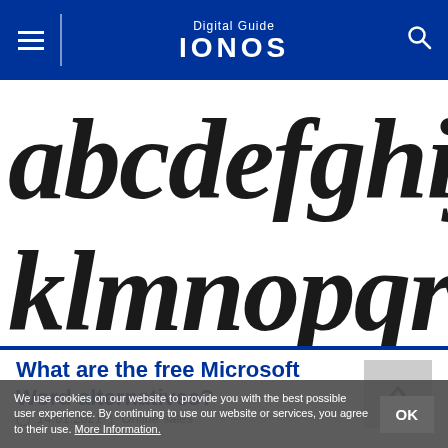Digital Guide IONOS
[Figure (illustration): Handwritten brush-lettered lowercase alphabet letters a b c d e f g h i j k l m n o p q r on white background]
What are the free Microsoft Word alternatives?
14.01.2021 | Online sales
We use cookies on our website to provide you with the best possible user experience. By continuing to use our website or services, you agree to their use. More Information.